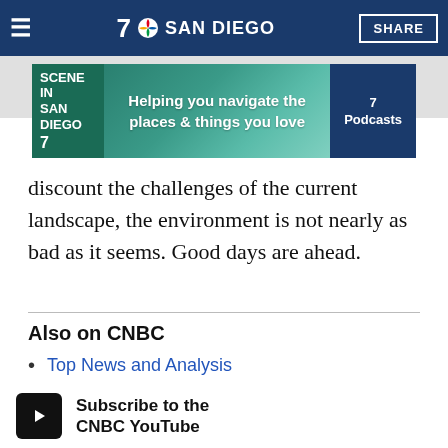7 SAN DIEGO | SHARE
[Figure (screenshot): NBC 7 San Diego podcast advertisement banner: 'Scene in San Diego – Helping you navigate the places & things you love – 7 Podcasts']
discount the challenges of the current landscape, the environment is not nearly as bad as it seems. Good days are ahead.
Also on CNBC
Top News and Analysis
Latest News Video
Personal Finance
Subscribe to the CNBC YouTube